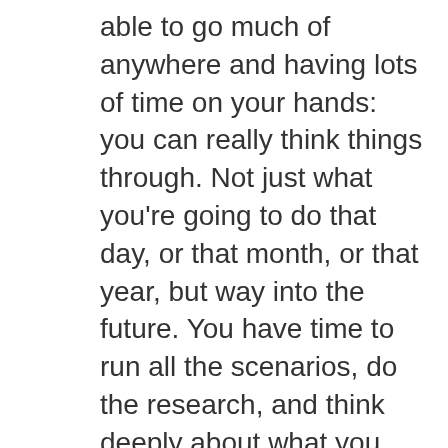able to go much of anywhere and having lots of time on your hands: you can really think things through. Not just what you're going to do that day, or that month, or that year, but way into the future. You have time to run all the scenarios, do the research, and think deeply about what you really want to do going forward.

More than knowing what we want to do with our future, Brett and I have been clear and united about what we don't want to do. We do not want